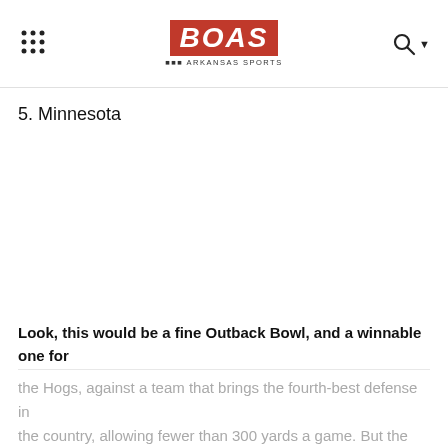BOAS BEST OF ARKANSAS SPORTS
5. Minnesota
Look, this would be a fine Outback Bowl, and a winnable one for the Hogs, against a team that brings the fourth-best defense in the country, allowing fewer than 300 yards a game. But the